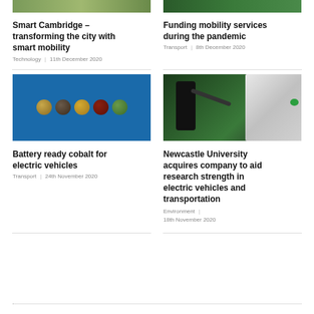[Figure (photo): Aerial/nature scene top left, partially visible]
[Figure (photo): Green foliage/nature scene top right, partially visible]
Smart Cambridge – transforming the city with smart mobility
Technology  |  11th December 2020
Funding mobility services during the pandemic
Transport  |  8th December 2020
[Figure (photo): Blue background with five circular material/mineral samples labeled: Cryptocurrency, Cobalt, Nickel/Manganese, Lithium Carbonate, Nickel/Mixed Hydroxides]
[Figure (photo): Electric vehicle charging plug inserted into white car]
Battery ready cobalt for electric vehicles
Transport  |  24th November 2020
Newcastle University acquires company to aid research strength in electric vehicles and transportation
Environment  |  18th November 2020